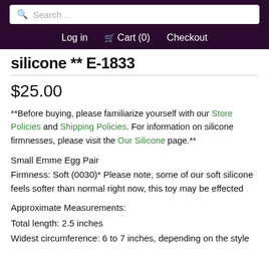Search... | Log in | Cart (0) | Checkout
silicone ** E-1833
$25.00
**Before buying, please familiarize yourself with our Store Policies and Shipping Policies. For information on silicone firmnesses, please visit the Our Silicone page.**
Small Emme Egg Pair
Firmness: Soft (0030)* Please note, some of our soft silicone feels softer than normal right now, this toy may be effected
Approximate Measurements:
Total length: 2.5 inches
Widest circumference: 6 to 7 inches, depending on the style